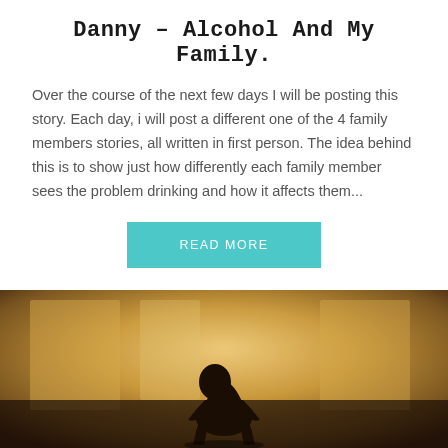Danny – Alcohol And My Family.
Over the course of the next few days I will be posting this story. Each day, i will post a different one of the 4 family members stories, all written in first person. The idea behind this is to show just how differently each family member sees the problem drinking and how it affects them...
READ MORE
[Figure (photo): Silhouette of a person sitting with head bowed down in a warmly lit room with blurred background, conveying sadness or despair.]